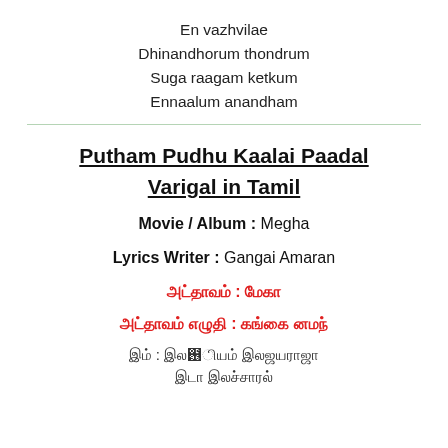En vazhvilae
Dhinandhorum thondrum
Suga raagam ketkum
Ennaalum anandham
Putham Pudhu Kaalai Paadal Varigal in Tamil
Movie / Album : Megha
Lyrics Writer : Gangai Amaran
Tamil text: Tamil text (red)
Tamil text: Tamil text (red)
Tamil text: Tamil text (dark)